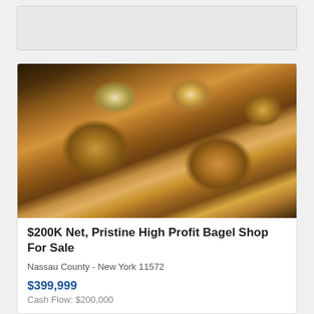[Figure (photo): Close-up photo of multiple freshly baked bagels with various toppings including sesame seeds, everything bagel seasoning, and plain, arranged on a dark surface.]
$200K Net, Pristine High Profit Bagel Shop For Sale
Nassau County - New York 11572
$399,999
Cash Flow: $200,000